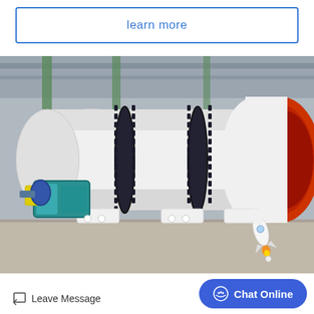learn more
[Figure (photo): Large industrial rotary drum dryer or cement kiln in a factory setting. The machine is predominantly white with black gear rings and features a large red/orange cylindrical opening on the right side. A teal/green motor drive unit is visible on the left. The equipment sits on white supports on a factory floor. A small rocket ship icon appears overlaid in the lower right of the image.]
Leave Message
Chat Online